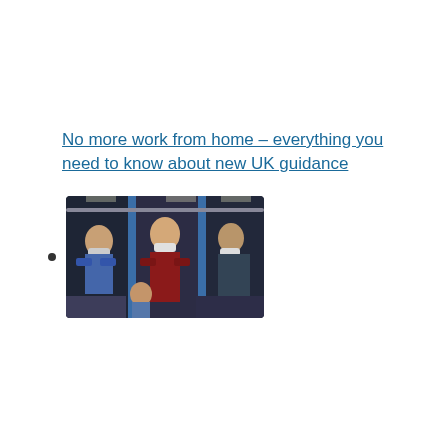No more work from home – everything you need to know about new UK guidance
[Figure (photo): Thumbnail photo showing people on public transport wearing face masks, taken on what appears to be a London Underground train.]